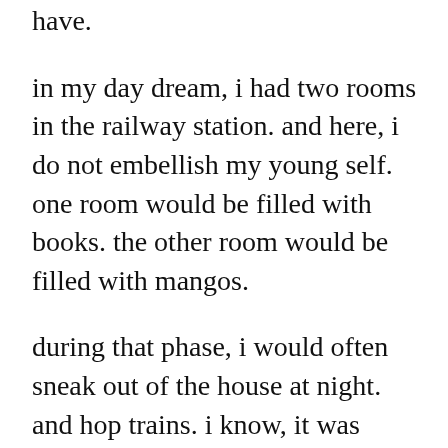have.
in my day dream, i had two rooms in the railway station. and here, i do not embellish my young self. one room would be filled with books. the other room would be filled with mangos.
during that phase, i would often sneak out of the house at night. and hop trains. i know, it was dangerous and insane. but i was in thrall with the sound of the train as it rolls over the gap in the rail.
and the night.
i wanted that clanking silence